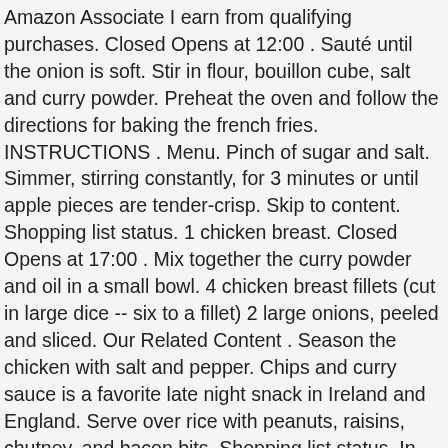Amazon Associate I earn from qualifying purchases. Closed Opens at 12:00 . Sauté until the onion is soft. Stir in flour, bouillon cube, salt and curry powder. Preheat the oven and follow the directions for baking the french fries. INSTRUCTIONS . Menu. Pinch of sugar and salt. Simmer, stirring constantly, for 3 minutes or until apple pieces are tender-crisp. Skip to content. Shopping list status. 1 chicken breast. Closed Opens at 17:00 . Mix together the curry powder and oil in a small bowl. 4 chicken breast fillets (cut in large dice -- six to a fillet) 2 large onions, peeled and sliced. Our Related Content . Season the chicken with salt and pepper. Chips and curry sauce is a favorite late night snack in Ireland and England. Serve over rice with peanuts, raisins, chutney, and bacon bits. Shopping list status. In large skillet, saute; chicken, mushrooms, and onion in oil or until chicken is lightly browned on all sides. In a Dutch oven, melt the butter over medium heat and sauté the rabbit pieces until well browned, about 15 minutes. Shopping list status. Chicken Hawaii Gourmet. January 2006; originally published